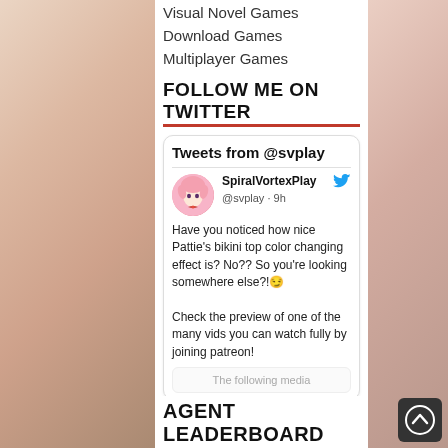Visual Novel Games
Download Games
Multiplayer Games
FOLLOW ME ON TWITTER
[Figure (screenshot): Twitter widget card showing tweets from @svplay. Profile avatar of anime girl with pink hair. Username: SpiralVortexPlay, handle @svplay · 9h. Tweet text: Have you noticed how nice Pattie's bikini top color changing effect is? No?? So you're looking somewhere else?!😏 Check the preview of one of the many vids you can watch fully by joining patreon! Media section shows 'The following media']
AGENT LEADERBOARD